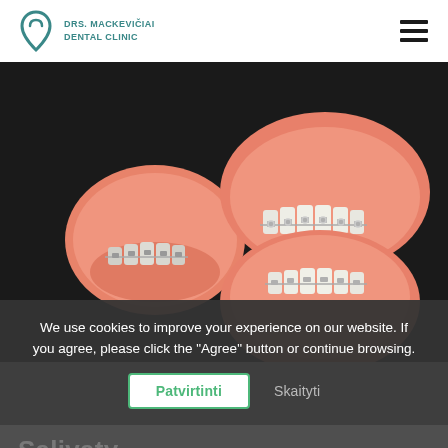[Figure (logo): Drs. Mackevičiai Dental Clinic logo with tooth/heart icon in teal and clinic name text]
[Figure (photo): Dental model with metal braces/brackets on pink gum model, shown on dark background. Two models visible — one closed and one open showing upper and lower teeth with orthodontic braces.]
We use cookies to improve your experience on our website. If you agree, please click the "Agree" button or continue browsing.
Patvirtinti
Skaityti
Salivaty...